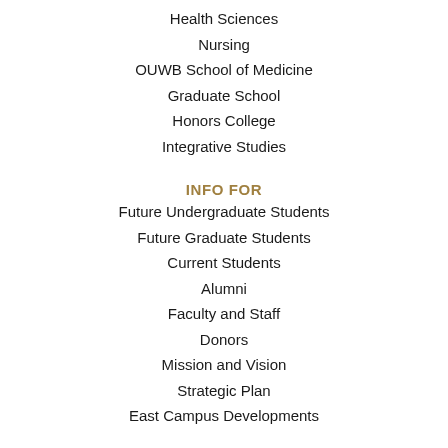Health Sciences
Nursing
OUWB School of Medicine
Graduate School
Honors College
Integrative Studies
INFO FOR
Future Undergraduate Students
Future Graduate Students
Current Students
Alumni
Faculty and Staff
Donors
Mission and Vision
Strategic Plan
East Campus Developments
QUICK LINKS